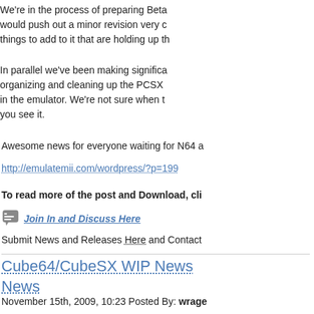We're in the process of preparing Beta would push out a minor revision very c things to add to it that are holding up th
In parallel we've been making significa organizing and cleaning up the PCSX in the emulator. We're not sure when t you see it.
Awesome news for everyone waiting for N64 a
http://emulatemii.com/wordpress/?p=199
To read more of the post and Download, cli
Join In and Discuss Here
Submit News and Releases Here and Contact
Cube64/CubeSX WIP News News
November 15th, 2009, 10:23 Posted By: wrage
Some progress news from the EmulateMii Tea
This is a quick update to let you all kn googlecode project, we've finally finish beta1 tagged code is the same code th thought the migration process would g amount of effort put in to get the emula
We're in the process of preparing Beta would be about a minor revision